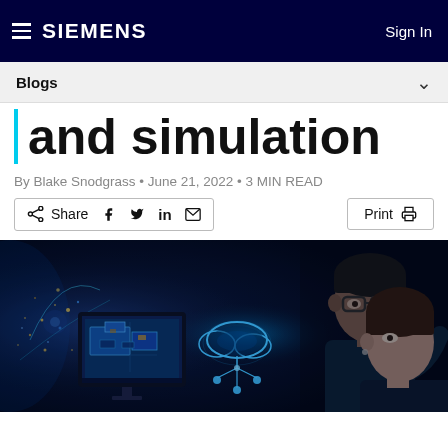SIEMENS | Sign In
Blogs
and simulation
By Blake Snodgrass • June 21, 2022 • 3 MIN READ
Share | Print
[Figure (photo): Two engineers in a dark tech environment looking at a holographic cloud computing display above a monitor showing a 3D CAD model]